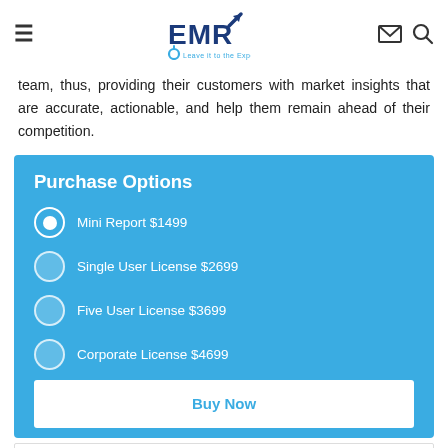EMR - Leave it to the Experts
team, thus, providing their customers with market insights that are accurate, actionable, and help them remain ahead of their competition.
Purchase Options
Mini Report $1499
Single User License $2699
Five User License $3699
Corporate License $4699